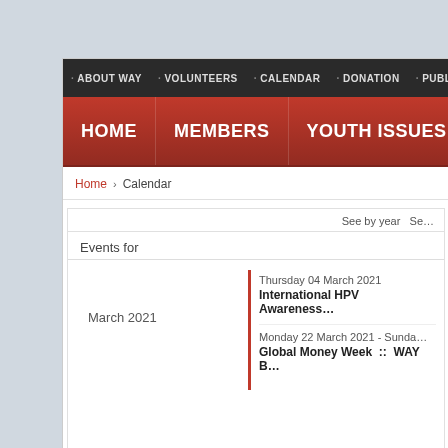· ABOUT WAY · VOLUNTEERS · CALENDAR · DONATION · PUBLICATIONS
HOME | MEMBERS | YOUTH ISSUES | D…
Home > Calendar
See by year  Se…
Events for
March 2021
Thursday 04 March 2021
International HPV Awareness…
Monday 22 March 2021 - Sunda…
Global Money Week  ::  WAY B…